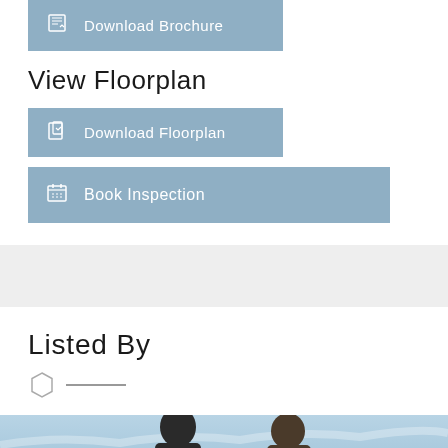Download Brochure
View Floorplan
Download Floorplan
Book Inspection
Listed By
[Figure (photo): Two men photographed outdoors against a blue sky background]